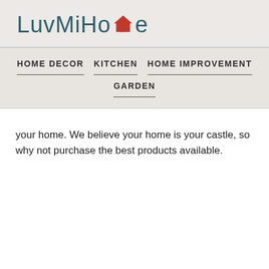[Figure (logo): LuvMiHome logo with teal/dark text and red house icon replacing the letter A in Home]
HOME DECOR   KITCHEN   HOME IMPROVEMENT   GARDEN
your home. We believe your home is your castle, so why not purchase the best products available.